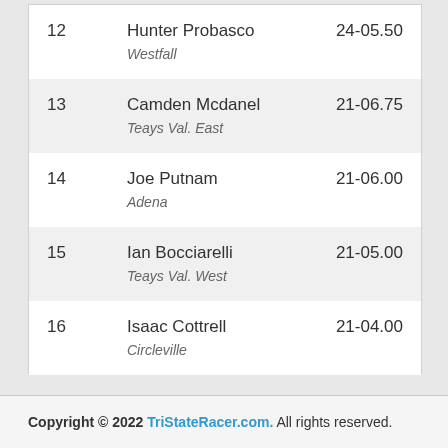| Rank | Athlete | Score |
| --- | --- | --- |
| 12 | Hunter Probasco
Westfall | 24-05.50 |
| 13 | Camden Mcdanel
Teays Val. East | 21-06.75 |
| 14 | Joe Putnam
Adena | 21-06.00 |
| 15 | Ian Bocciarelli
Teays Val. West | 21-05.00 |
| 16 | Isaac Cottrell
Circleville | 21-04.00 |
Copyright © 2022 TriStateRacer.com. All rights reserved.